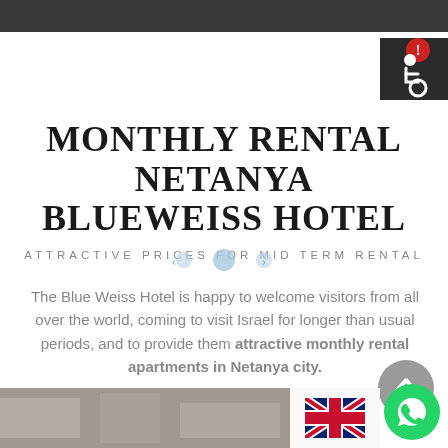[Figure (other): Dark grey header bar at top of page]
[Figure (other): Accessibility icon with red exclamation badge and wheelchair user symbol in top right corner]
MONTHLY RENTAL NETANYA BLUEWEISS HOTEL
ATTRACTIVE PRICES FOR MID TERM RENTAL
[Figure (other): Navigation arrow indicators (light blue dots/arrows)]
The Blue Weiss Hotel is happy to welcome visitors from all over the world, coming to visit Israel for longer than usual periods, and to provide them attractive monthly rental apartments in Netanya city.
[Figure (other): Back to top button - grey circle with up chevron]
[Figure (photo): Bottom strip showing partial interior room photo]
[Figure (other): UK flag icon]
[Figure (other): WhatsApp green phone button in bottom right]